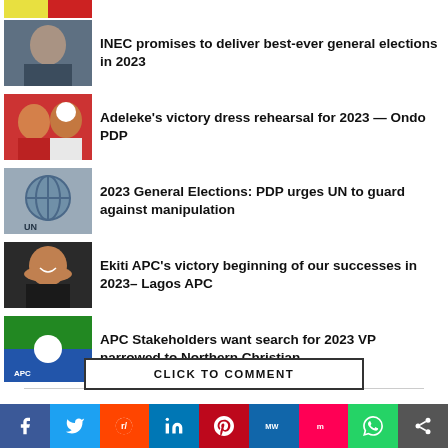[Figure (photo): Partial PDP logo image cropped at top]
[Figure (photo): Man in suit at desk - INEC story thumbnail]
INEC promises to deliver best-ever general elections in 2023
[Figure (photo): Two men in traditional attire - Adeleke story thumbnail]
Adeleke’s victory dress rehearsal for 2023 — Ondo PDP
[Figure (photo): UN building signage - PDP/UN story thumbnail]
2023 General Elections: PDP urges UN to guard against manipulation
[Figure (photo): Smiling man in suit - Ekiti APC story thumbnail]
Ekiti APC’s victory beginning of our successes in 2023– Lagos APC
[Figure (photo): APC rally/flag image - APC stakeholders story thumbnail]
APC Stakeholders want search for 2023 VP narrowed to Northern Christian
CLICK TO COMMENT
[Figure (infographic): Social share bar with Facebook, Twitter, Reddit, LinkedIn, Pinterest, MeWe, Mix, WhatsApp, share icons]